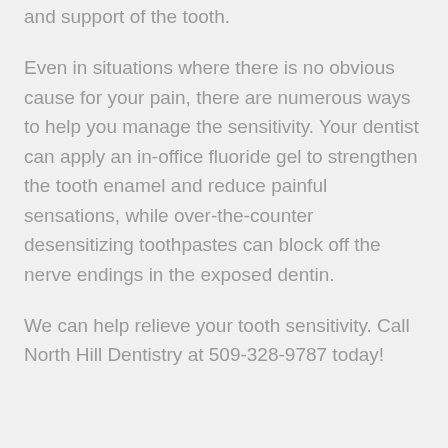and support of the tooth.
Even in situations where there is no obvious cause for your pain, there are numerous ways to help you manage the sensitivity. Your dentist can apply an in-office fluoride gel to strengthen the tooth enamel and reduce painful sensations, while over-the-counter desensitizing toothpastes can block off the nerve endings in the exposed dentin.
We can help relieve your tooth sensitivity. Call North Hill Dentistry at 509-328-9787 today!